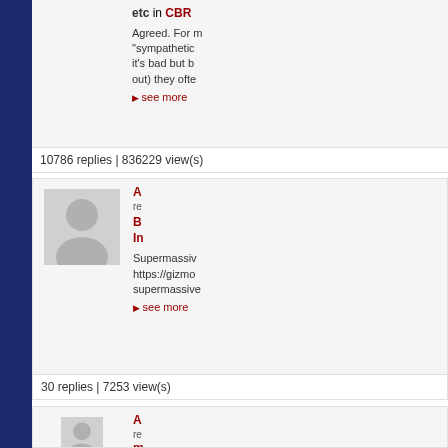etc in CBR
Agreed. For m... "sympathetic... it's bad but b... out) they ofte...
▶ see more
10786 replies | 836229 view(s)
[Figure (photo): Default user avatar (gray silhouette)]
A... replied... B... In...
Supermassiv... https://gizmo... supermassive...
▶ see more
30 replies | 7253 view(s)
[Figure (photo): Default user avatar (gray silhouette)]
A... re... m... W... Discussion...